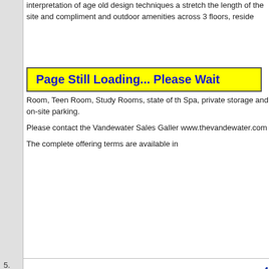interpretation of age old design techniques a stretch the length of the site and compliment and outdoor amenities across 3 floors, reside with de nd liv Room, Teen Room, Study Rooms, state of th Spa, private storage and on-site parking.
[Figure (screenshot): Yellow banner with blue bold text reading 'Page Still Loading... Please Wait']
Please contact the Vandewater Sales Galler www.thevandewater.com
The complete offering terms are available in
5.
[Figure (photo): Two photos of a raw loft space with arched windows and wood floors at 473 Broadway 7E]
473 Broadway - 7E    (Click address for more
| Type: COOP | Price: $4 |
| Rooms: 5 | Retax: $3 |
| Beds: 3 | Maint/CO |
| Baths: 3 | Tax Dedu |
| Approx Sq Ft: 2,000 | Finance A |
RAW CONDO LOFT
High floor condominium loft, entirely gutted a
With tremendous amount of light and possib Approximately 2000 SF of living space with e bathroom + laundry (see attached proposed carrying costs.
Come view for yourself, bring your archite